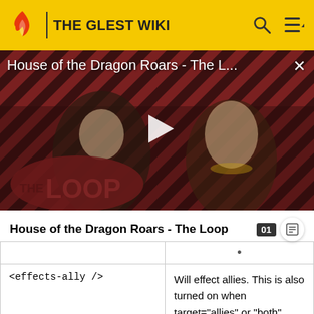THE GLEST WIKI
[Figure (screenshot): Video thumbnail for 'House of the Dragon Roars - The L...' showing two characters in fantasy costumes against a diagonal striped red/black background with 'THE LOOP' logo overlay and a play button in the center.]
House of the Dragon Roars - The Loop
| . |  |
| <effects-ally /> | Will effect allies. This is also turned on when target="allies" or "both". |